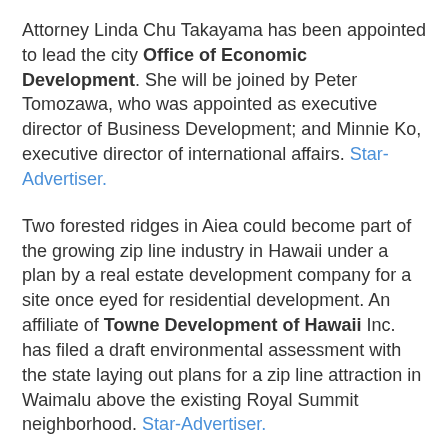Attorney Linda Chu Takayama has been appointed to lead the city Office of Economic Development. She will be joined by Peter Tomozawa, who was appointed as executive director of Business Development; and Minnie Ko, executive director of international affairs. Star-Advertiser.
Two forested ridges in Aiea could become part of the growing zip line industry in Hawaii under a plan by a real estate development company for a site once eyed for residential development. An affiliate of Towne Development of Hawaii Inc. has filed a draft environmental assessment with the state laying out plans for a zip line attraction in Waimalu above the existing Royal Summit neighborhood. Star-Advertiser.
Hawaii
The 2014 election season kicks off today with the beginning of the candidate filing period, which runs through June 3. Tribune-Herald.
This year, Hawaii Island voters will have their work cut out for them as they will be called upon to weigh in on a number of